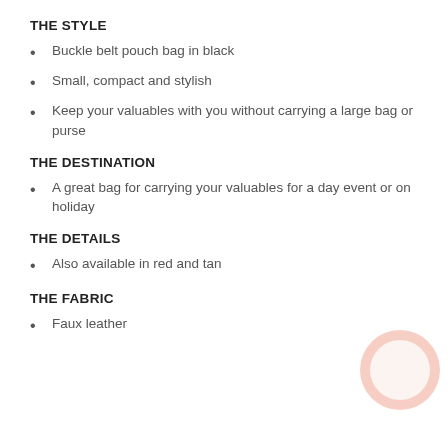THE STYLE
Buckle belt pouch bag in black
Small, compact and stylish
Keep your valuables with you without carrying a large bag or purse
THE DESTINATION
A great bag for carrying your valuables for a day event or on holiday
THE DETAILS
Also available in red and tan
THE FABRIC
Faux leather